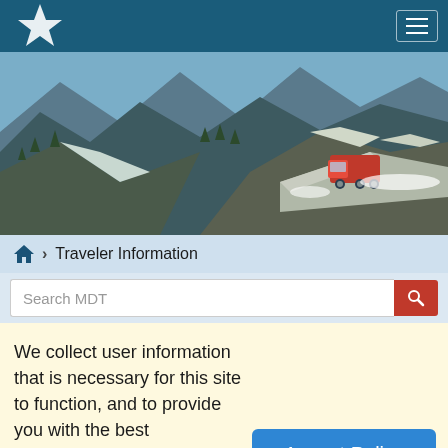MDT Montana Department of Transportation - navigation header with logo and menu
[Figure (photo): Snow-covered mountain landscape with a red snowplow/maintenance truck on a mountain road carved into steep rocky terrain, with mountains and trees visible in the background under a blue sky.]
🏠 > Traveler Information
Search MDT
We collect user information that is necessary for this site to function, and to provide you with the best experience. Learn more by reviewing our Internet Privacy & Security page. By accepting and continuing to use this site, you agree to these terms.
Accept Policy